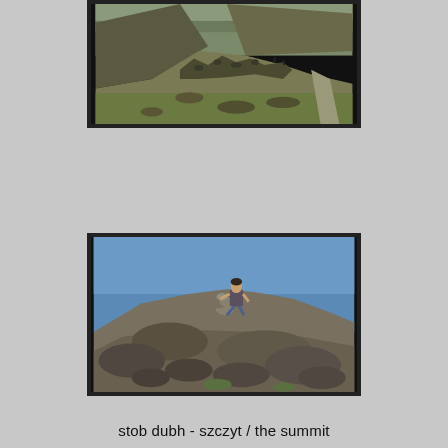[Figure (photo): Aerial/elevated view of a mountain ridge with rocky terrain, grassy slopes and a path leading to distant peaks under a partly cloudy sky. Stob Dubh mountain ridge.]
[Figure (photo): Person sitting on a rocky mountain summit cairn against a clear blue sky. Stob Dubh summit.]
stob dubh - szczyt / the summit